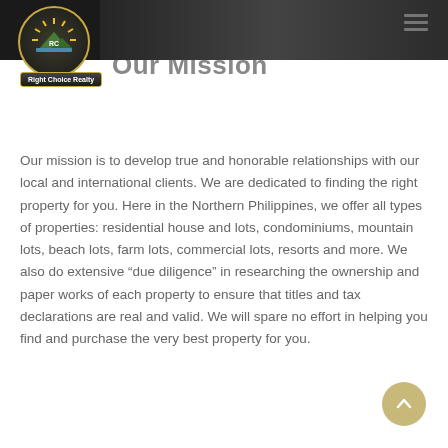Right Choice Realty
Our Mission
Our mission is to develop true and honorable relationships with our local and international clients. We are dedicated to finding the right property for you. Here in the Northern Philippines, we offer all types of properties: residential house and lots, condominiums, mountain lots, beach lots, farm lots, commercial lots, resorts and more. We also do extensive “due diligence” in researching the ownership and paper works of each property to ensure that titles and tax declarations are real and valid. We will spare no effort in helping you find and purchase the very best property for you.